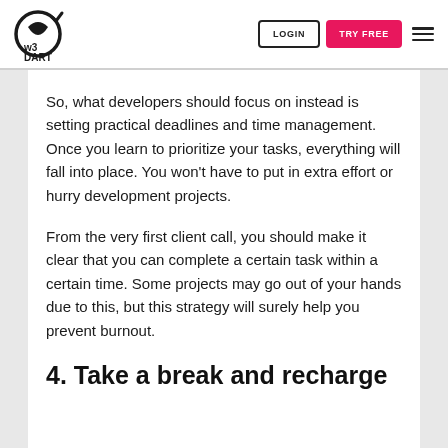[Figure (logo): W3 Dart logo — circular icon with a leaf/dart shape and 'w3 DART' text]
So, what developers should focus on instead is setting practical deadlines and time management. Once you learn to prioritize your tasks, everything will fall into place. You won't have to put in extra effort or hurry development projects.
From the very first client call, you should make it clear that you can complete a certain task within a certain time. Some projects may go out of your hands due to this, but this strategy will surely help you prevent burnout.
4. Take a break and recharge